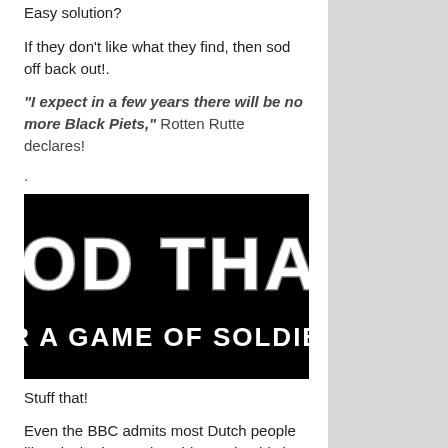Easy solution?
If they don't like what they find, then sod off back out!.
“I expect in a few years there will be no more Black Piets,” Rotten Rutte declares!
.
[Figure (illustration): Black background image with bold white outlined text reading 'SOD THAT' in large letters and 'FOR A GAME OF SOLDIERS' below in smaller bold white text.]
Stuff that!
Even the BBC admits most Dutch people like Black Piet, so the whiners should shut up or go home.
But before they would ever consider the logical and honourable solution to their killjoy vexation, they will probably prefer a ‘Second Front’ in their race-obsessed war on Dutch Christmases…